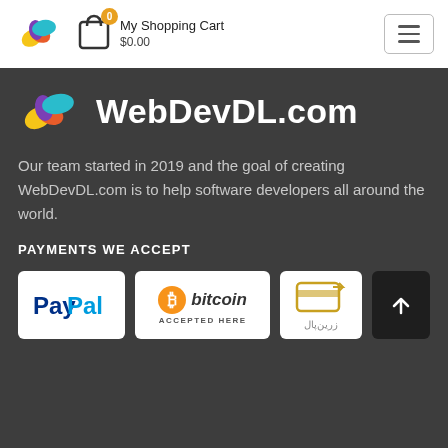[Figure (logo): WebDevDL small colorful logo top-left]
My Shopping Cart
$0.00
[Figure (logo): Hamburger menu button]
[Figure (logo): WebDevDL large colorful logo with site name WebDevDL.com on dark background]
Our team started in 2019 and the goal of creating WebDevDL.com is to help software developers all around the world.
PAYMENTS WE ACCEPT
[Figure (logo): PayPal logo badge]
[Figure (logo): Bitcoin Accepted Here logo badge]
[Figure (logo): Zarinpal (زرین‌پال) logo badge]
[Figure (other): Scroll to top arrow button]